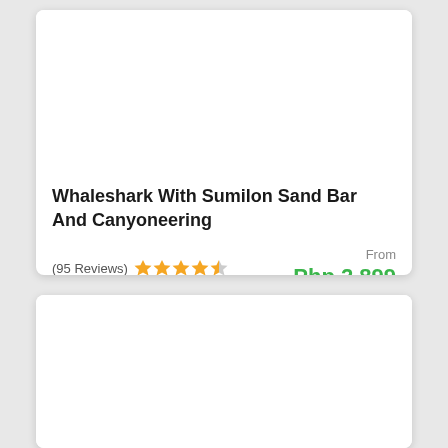Whaleshark With Sumilon Sand Bar And Canyoneering
(95 Reviews)
From Php 2,899
[Figure (photo): Blank white image area (product photo placeholder) in second card]